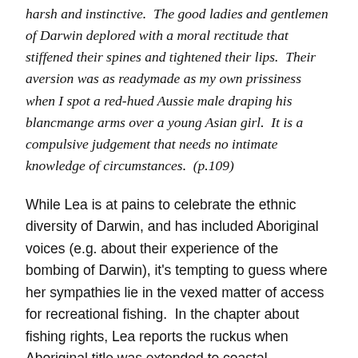harsh and instinctive.  The good ladies and gentlemen of Darwin deplored with a moral rectitude that stiffened their spines and tightened their lips.  Their aversion was as readymade as my own prissiness when I spot a red-hued Aussie male draping his blancmange arms over a young Asian girl.  It is a compulsive judgement that needs no intimate knowledge of circumstances.  (p.109)
While Lea is at pains to celebrate the ethnic diversity of Darwin, and has included Aboriginal voices (e.g. about their experience of the bombing of Darwin), it's tempting to guess where her sympathies lie in the vexed matter of access for recreational fishing.  In the chapter about fishing rights, Lea reports the ruckus when Aboriginal title was extended to coastal waterways.  She reports the outrage from the local fishing lobby, and quotes a racist